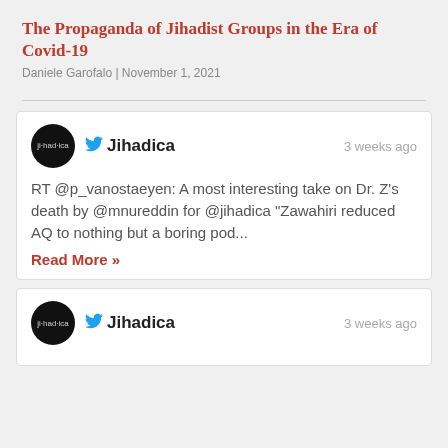The Propaganda of Jihadist Groups in the Era of Covid-19
Daniele Garofalo | November 1, 2021
[Figure (screenshot): Embedded tweet from @Jihadica account showing RT of @p_vanostaeyen about Dr. Z's death, timestamped 3 weeks ago]
RT @p_vanostaeyen: A most interesting take on Dr. Z's death by @mnureddin for @jihadica "Zawahiri reduced AQ to nothing but a boring pod...
Read More »
[Figure (screenshot): Second embedded tweet from @Jihadica account, timestamped 3 weeks ago, partially visible at bottom]